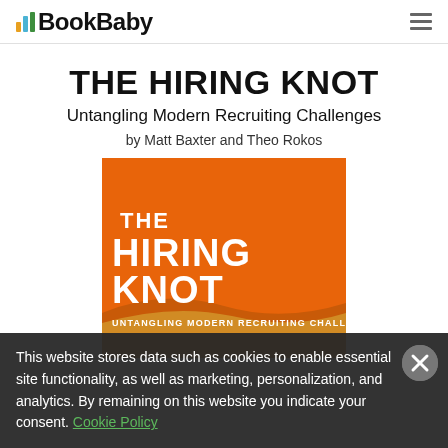BookBaby
THE HIRING KNOT
Untangling Modern Recruiting Challenges
by Matt Baxter and Theo Rokos
[Figure (illustration): Book cover for 'The Hiring Knot: Untangling Modern Recruiting Challenges'. Orange background with white bold text 'THE HIRING KNOT' and subtitle 'UNTANGLING MODERN RECRUITING CHALLENGES'. A diagonal wave/ribbon shape in yellow/tan at the bottom.]
This website stores data such as cookies to enable essential site functionality, as well as marketing, personalization, and analytics. By remaining on this website you indicate your consent. Cookie Policy